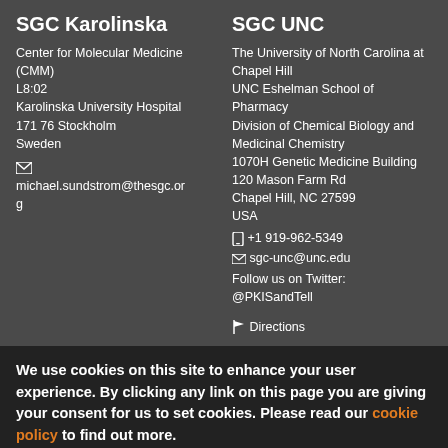SGC Karolinska
Center for Molecular Medicine (CMM)
L8:02
Karolinska University Hospital
171 76 Stockholm
Sweden
✉ michael.sundstrom@thesgc.org
SGC UNC
The University of North Carolina at Chapel Hill
UNC Eshelman School of Pharmacy
Division of Chemical Biology and Medicinal Chemistry
1070H Genetic Medicine Building
120 Mason Farm Rd
Chapel Hill, NC 27599
USA
📱 +1 919-962-5349
✉ sgc-unc@unc.edu
Follow us on Twitter: @PKISandTell
🚩 Directions
We use cookies on this site to enhance your user experience. By clicking any link on this page you are giving your consent for us to set cookies. Please read our cookie policy to find out more.
DISMISS